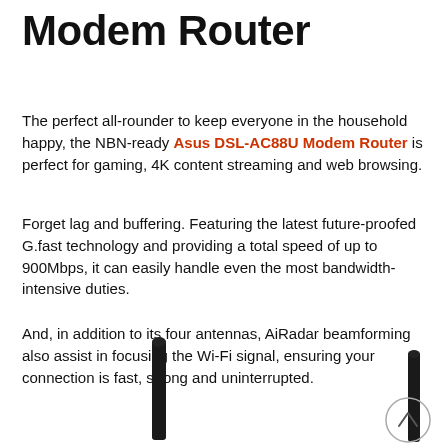Modem Router
The perfect all-rounder to keep everyone in the household happy, the NBN-ready Asus DSL-AC88U Modem Router is perfect for gaming, 4K content streaming and web browsing.
Forget lag and buffering. Featuring the latest future-proofed G.fast technology and providing a total speed of up to 900Mbps, it can easily handle even the most bandwidth-intensive duties.
And, in addition to its four antennas, AiRadar beamforming also assist in focusing the Wi-Fi signal, ensuring your connection is fast, strong and uninterrupted.
[Figure (photo): Two black vertical antennas of the Asus DSL-AC88U Modem Router visible at the bottom of the page, with a circular scroll-up button in the bottom right corner.]